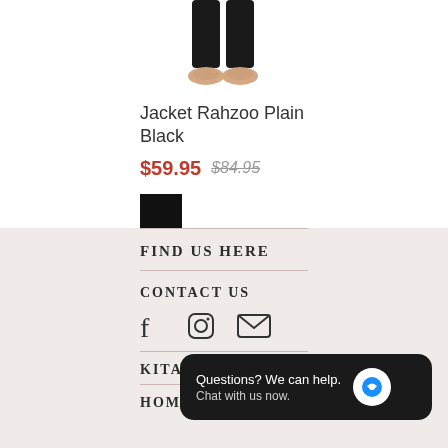[Figure (photo): Partial view of a person wearing black pants and beige slip-on shoes, cropped to show only the lower body]
Jacket Rahzoo Plain Black
$59.95 $84.95
[Figure (other): Black color swatch rectangle]
FIND US HERE
CONTACT US
[Figure (infographic): Social media icons: Facebook (f), Instagram (camera), Email (envelope)]
KITA KU
HOME
Questions? We can help. Chat with us now.